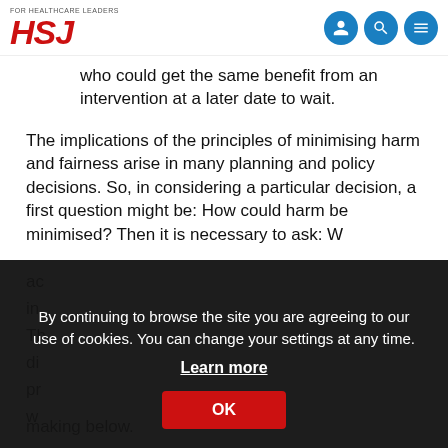HSJ — For Healthcare Leaders
who could get the same benefit from an intervention at a later date to wait.
The implications of the principles of minimising harm and fairness arise in many planning and policy decisions. So, in considering a particular decision, a first question might be: How could harm be minimised? Then it is necessary to ask: W... making below.
By continuing to browse the site you are agreeing to our use of cookies. You can change your settings at any time. Learn more OK